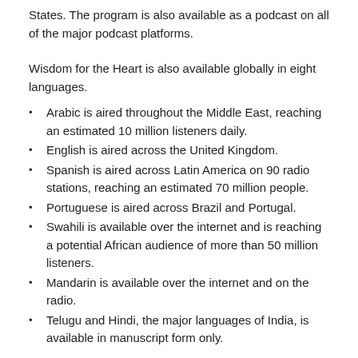States. The program is also available as a podcast on all of the major podcast platforms.
Wisdom for the Heart is also available globally in eight languages.
Arabic is aired throughout the Middle East, reaching an estimated 10 million listeners daily.
English is aired across the United Kingdom.
Spanish is aired across Latin America on 90 radio stations, reaching an estimated 70 million people.
Portuguese is aired across Brazil and Portugal.
Swahili is available over the internet and is reaching a potential African audience of more than 50 million listeners.
Mandarin is available over the internet and on the radio.
Telugu and Hindi, the major languages of India, is available in manuscript form only.